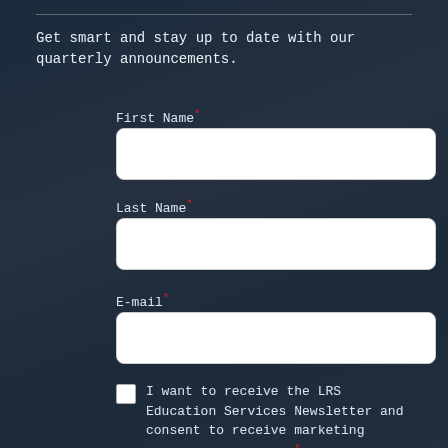Get smart and stay up to date with our quarterly announcements.
First Name*
Last Name*
E-mail*
I want to receive the LRS Education Services Newsletter and consent to receive marketing materials from LRS.*